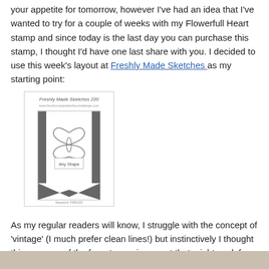your appetite for tomorrow, however I've had an idea that I've wanted to try for a couple of weeks with my Flowerfull Heart stamp and since today is the last day you can purchase this stamp, I thought I'd have one last share with you. I decided to use this week's layout at Freshly Made Sketches as my starting point:
[Figure (illustration): Freshly Made Sketches 220 sketch layout showing a banner/bookmark shape with a butterfly silhouette labeled 'Any Shape' and two vertical dark stripes, with keyword FMS120 at bottom.]
As my regular readers will know, I struggle with the concept of 'vintage' (I much prefer clean lines!) but instinctively I thought this was one of the few stamps in my set that might work for the vintage look, so here's my attempt:
[Figure (photo): Bottom strip showing the top edge of a card or craft project with a tan/beige background.]